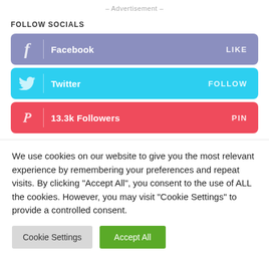- Advertisement -
FOLLOW SOCIALS
[Figure (infographic): Facebook social follow bar with 'f' icon, label 'Facebook', and action 'LIKE']
[Figure (infographic): Twitter social follow bar with bird icon, label 'Twitter', and action 'FOLLOW']
[Figure (infographic): Pinterest social follow bar with 'P' icon, label '13.3k Followers', and action 'PIN']
We use cookies on our website to give you the most relevant experience by remembering your preferences and repeat visits. By clicking “Accept All”, you consent to the use of ALL the cookies. However, you may visit "Cookie Settings" to provide a controlled consent.
Cookie Settings | Accept All